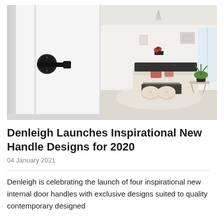[Figure (photo): Two-panel photo: left panel shows a black lever door handle on a white door; right panel shows a bright contemporary living room with cream sofas, round ottomans, a glass coffee table, and plants.]
Denleigh Launches Inspirational New Handle Designs for 2020
04 January 2021
Denleigh is celebrating the launch of four inspirational new internal door handles with exclusive designs suited to quality contemporary designed